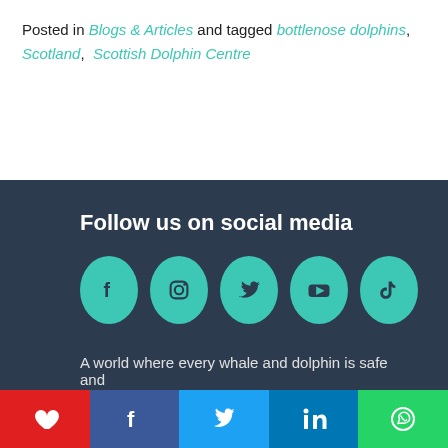Posted in Blogs & Articles and tagged bottlenose dolphins, Scotland, Scottish Dolphin Centre
Follow us on social media
[Figure (infographic): Five teal circular social media icons: Facebook, Instagram, Twitter, YouTube, TikTok]
A world where every whale and dolphin is safe and
Share bar with heart/save, Facebook, Twitter, LinkedIn, WhatsApp buttons